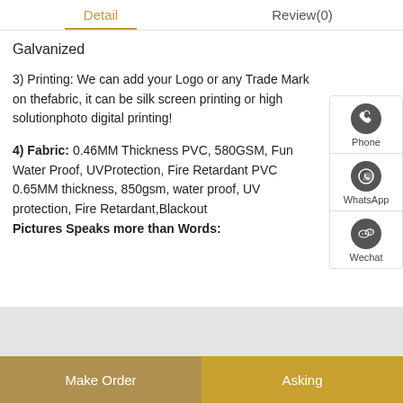Detail   Review(0)
Galvanized
3) Printing: We can add your Logo or any Trade Mark on thefabric, it can be silk screen printing or high solutionphoto digital printing!
4) Fabric: 0.46MM Thickness PVC, 580GSM, Fun Water Proof, UVProtection, Fire Retardant PVC 0.65MM thickness, 850gsm, water proof, UV protection, Fire Retardant,Blackout
Pictures Speaks more than Words:
[Figure (infographic): Floating sidebar with Phone, WhatsApp, and Wechat contact icons]
Make Order   Asking